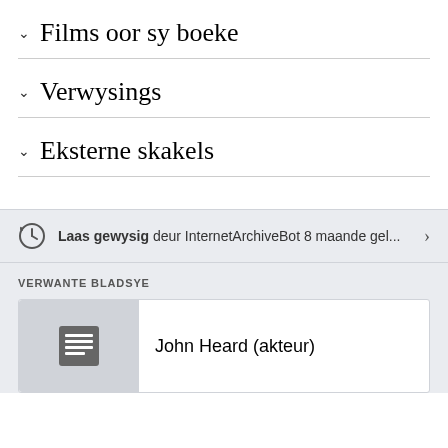Films oor sy boeke
Verwysings
Eksterne skakels
Laas gewysig deur InternetArchiveBot 8 maande gel...
VERWANTE BLADSYE
John Heard (akteur)